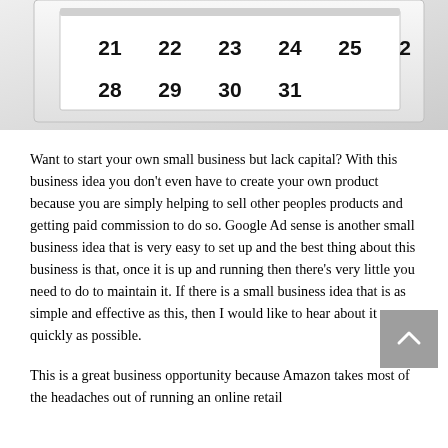[Figure (photo): A white desktop calendar/day-planner device showing dates 21, 22, 23, 24, 25 on one row and 28, 29, 30, 31 on the next row, photographed at an angle on a light background.]
Want to start your own small business but lack capital? With this business idea you don't even have to create your own product because you are simply helping to sell other peoples products and getting paid commission to do so. Google Ad sense is another small business idea that is very easy to set up and the best thing about this business is that, once it is up and running then there's very little you need to do to maintain it. If there is a small business idea that is as simple and effective as this, then I would like to hear about it as quickly as possible.
This is a great business opportunity because Amazon takes most of the headaches out of running an online retail